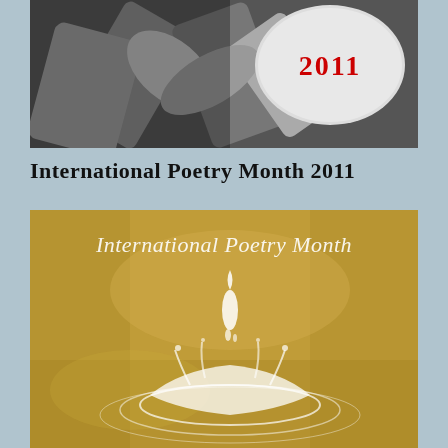[Figure (photo): Black and white photograph showing crossed sticks or arms, with a white rounded shape on the right side that has red text '2011' overlaid on it]
International Poetry Month 2011
[Figure (photo): Golden/tan textured book cover image with italic white text reading 'International Poetry Month' at the top, and a white illustrated figure of a water splash or fountain below]